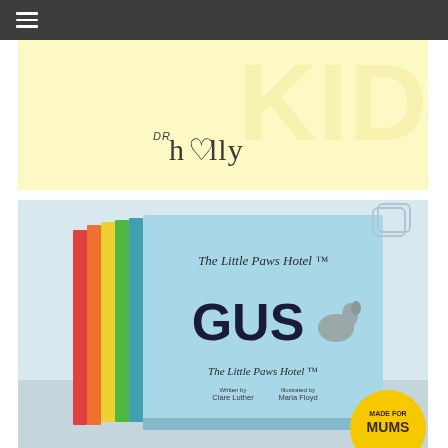Navigation header with hamburger menu
[Figure (logo): Dr Holly logo on yellow banner background with large faint letters KID in background]
[Figure (photo): Photo of 'The Little Paws Hotel - GUS' children's book series showing multiple colourful stacked books, with 'MADE FOR MUMS' badge visible, written by Clare Luther, illustrated by Maria Floyd]